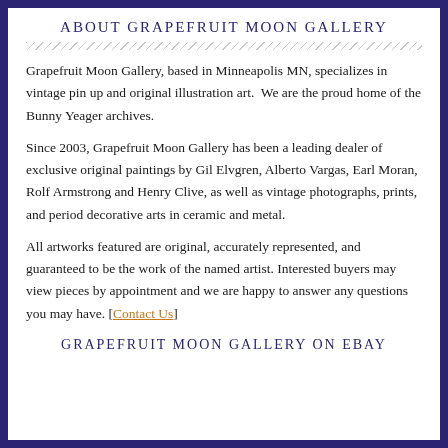ABOUT GRAPEFRUIT MOON GALLERY
Grapefruit Moon Gallery, based in Minneapolis MN, specializes in vintage pin up and original illustration art.  We are the proud home of the Bunny Yeager archives.
Since 2003, Grapefruit Moon Gallery has been a leading dealer of exclusive original paintings by Gil Elvgren, Alberto Vargas, Earl Moran, Rolf Armstrong and Henry Clive, as well as vintage photographs, prints, and period decorative arts in ceramic and metal.
All artworks featured are original, accurately represented, and guaranteed to be the work of the named artist. Interested buyers may view pieces by appointment and we are happy to answer any questions you may have. [Contact Us]
GRAPEFRUIT MOON GALLERY ON EBAY